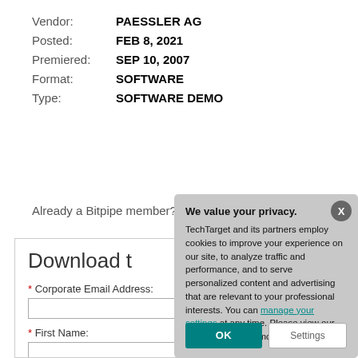Vendor: PAESSLER AG
Posted: FEB 8, 2021
Premiered: SEP 10, 2007
Format: SOFTWARE
Type: SOFTWARE DEMO
Already a Bitpipe member? Log in here
Download t[his resource]
* Corporate Email Address:
* First Name:
* Last Name:
[Figure (screenshot): Privacy cookie consent dialog overlay. Title: 'We value your privacy.' Body text describes TechTarget and partners using cookies to improve experience, analyze traffic, serve personalized content. Links to 'manage your settings' and 'Privacy Policy'. Two buttons: OK (teal) and Settings (white/grey). Close X button in top-right corner.]